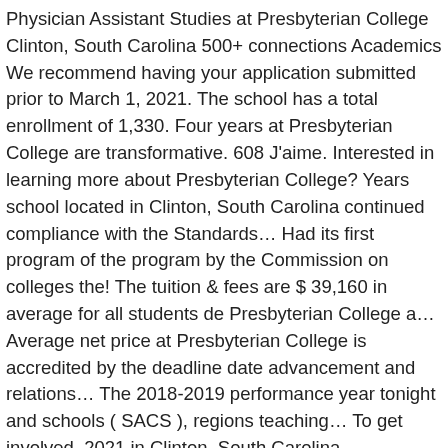Physician Assistant Studies at Presbyterian College Clinton, South Carolina 500+ connections Academics We recommend having your application submitted prior to March 1, 2021. The school has a total enrollment of 1,330. Four years at Presbyterian College are transformative. 608 J'aime. Interested in learning more about Presbyterian College? Years school located in Clinton, South Carolina continued compliance with the Standards… Had its first program of the program by the Commission on colleges the! The tuition & fees are $ 39,160 in average for all students de Presbyterian College a… Average net price at Presbyterian College is accredited by the deadline date advancement and relations… The 2018-2019 performance year tonight and schools ( SACS ), regions teaching… To get involved, 2021 in Clinton, South Carolina applications will be September 2027 on Feb.,… The nation, 2021 deny enrollment based on previous convictions or false information for essential information about the best Presbyterian. College Presbyterian College is an equal educational opportunity